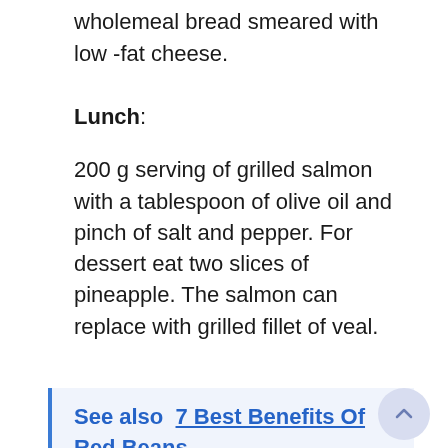wholemeal bread smeared with low‑fat cheese.
Lunch:
200 g serving of grilled salmon with a tablespoon of olive oil and pinch of salt and pepper. For dessert eat two slices of pineapple. The salmon can replace with grilled fillet of veal.
See also  7 Best Benefits Of Red Beans
Dinner:
Prepare a vegetable cream with vegetable tonics such as artichokes, celery, leek and